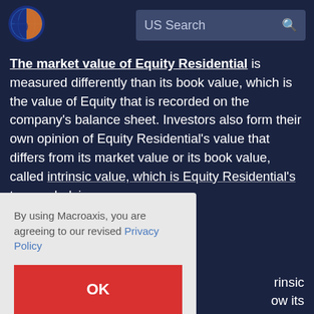[Figure (logo): Macroaxis globe logo with orange and blue colors]
US Search
The market value of Equity Residential is measured differently than its book value, which is the value of Equity that is recorded on the company's balance sheet. Investors also form their own opinion of Equity Residential's value that differs from its market value or its book value, called intrinsic value, which is Equity Residential's true underlying ... rinsic ... ow its ... value ... affect ... can
By using Macroaxis, you are agreeing to our revised Privacy Policy
OK